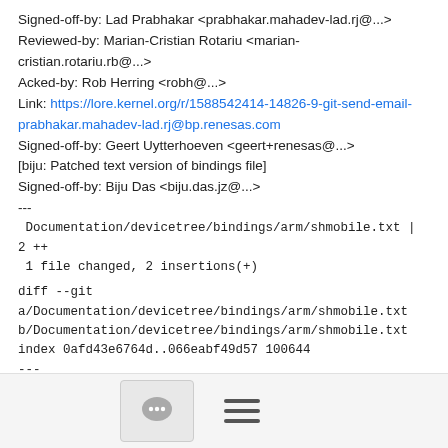Signed-off-by: Lad Prabhakar <prabhakar.mahadev-lad.rj@...>
Reviewed-by: Marian-Cristian Rotariu <marian-cristian.rotariu.rb@...>
Acked-by: Rob Herring <robh@...>
Link: https://lore.kernel.org/r/1588542414-14826-9-git-send-email-prabhakar.mahadev-lad.rj@bp.renesas.com
Signed-off-by: Geert Uytterhoeven <geert+renesas@...>
[biju: Patched text version of bindings file]
Signed-off-by: Biju Das <biju.das.jz@...>
---
 Documentation/devicetree/bindings/arm/shmobile.txt | 2 ++
 1 file changed, 2 insertions(+)
diff --git a/Documentation/devicetree/bindings/arm/shmobile.txt b/Documentation/devicetree/bindings/arm/shmobile.txt
index 0afd43e6764d..066eabf49d57 100644
--- a/Documentation/devicetree/bindings/arm/shmobile.txt
+++ b/Documentation/devicetree/bindings/arm/shmobile.txt
@@ -61,6 +61,8 @@ Boards:
[Figure (other): Footer bar with comment bubble icon and hamburger menu icon]